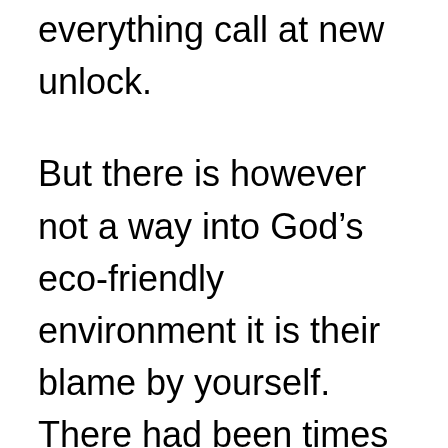everything call at new unlock. But there is however not a way into God's eco-friendly environment it is their blame by yourself. There had been times when I watched grand red flags. Rather than racking your brains on what all over the world is wrong, I just plowed ahead. I might get way more vegetation, otherwise chocolate, otherwise do so much more tasks around the home. I became a “good”